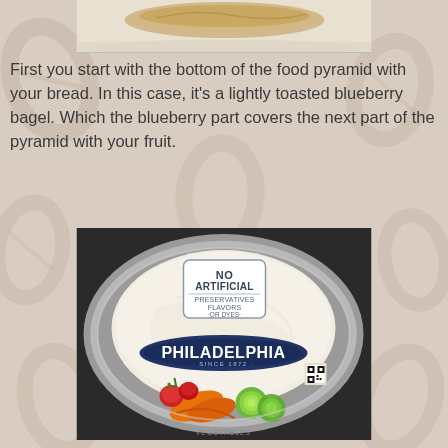[Figure (photo): Top portion of a lightly toasted blueberry bagel on a plate, cropped at top of page]
First you start with the bottom of the food pyramid with your bread. In this case, it's a lightly toasted blueberry bagel. Which the blueberry part covers the next part of the pyramid with your fruit.
[Figure (photo): Philadelphia cream cheese container lid showing 'NO ARTIFICIAL PRESERVATIVES FLAVORS OR DYES' label and Philadelphia brand logo with 'SINCE 1872', with vegetables (carrots, cucumbers, tomatoes) visible around the edges, container sitting in a silver/gray bowl]